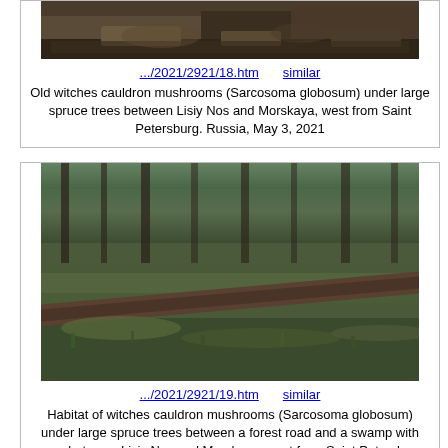[Figure (photo): Old witches cauldron mushrooms on forest floor, top portion visible]
.../2021/2921/18.htm    similar
Old witches cauldron mushrooms (Sarcosoma globosum) under large spruce trees between Lisiy Nos and Morskaya, west from Saint Petersburg. Russia, May 3, 2021
[Figure (photo): Habitat of witches cauldron mushrooms - forest floor with fallen log, moss, spruce trees]
.../2021/2921/19.htm    similar
Habitat of witches cauldron mushrooms (Sarcosoma globosum) under large spruce trees between a forest road and a swamp with moss between Lisiy Nos and Morskaya, west from Saint Petersburg. Russia, May 3, 2021